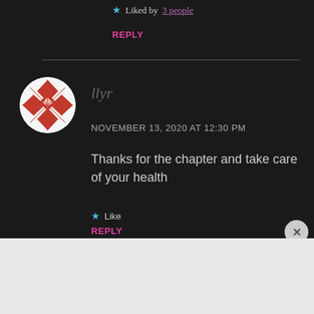★ Liked by 3 people
REPLY
[Figure (illustration): Round avatar with red and white geometric quilt pattern on dark background]
llyr
NOVEMBER 13, 2020 AT 12:30 PM
Thanks for the chapter and take care of your health
★ Like
REPLY
Advertisements
[Figure (screenshot): Day One app advertisement banner. Dark left panel with DAY ONE text and three app icons, light blue right panel with text: The only journaling app you'll ever need.]